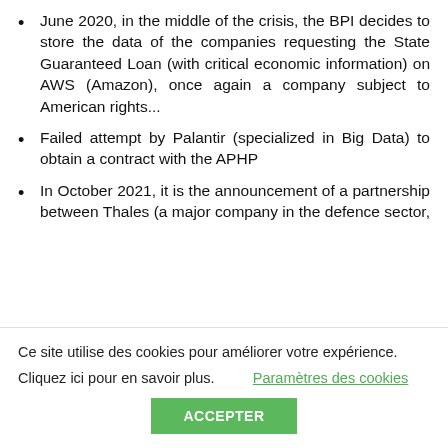June 2020, in the middle of the crisis, the BPI decides to store the data of the companies requesting the State Guaranteed Loan (with critical economic information) on AWS (Amazon), once again a company subject to American rights...
Failed attempt by Palantir (specialized in Big Data) to obtain a contract with the APHP
In October 2021, it is the announcement of a partnership between Thales (a major company in the defence sector, consit...
Ce site utilise des cookies pour améliorer votre expérience.
Cliquez ici pour en savoir plus.     Paramètres des cookies
ACCEPTER